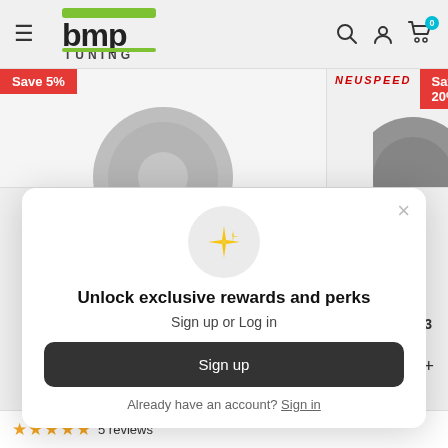[Figure (logo): BMP Tuning logo with green and dark text, hamburger menu icon on left, search, user, and cart icons on right with 0 badge]
[Figure (screenshot): Product listing strip showing two products. Left product has 'Save 5%' red badge and partial wheel image. Right section shows NEUSPEED logo in red italic text and 'Save 20%' red badge with partial wheel image on right.]
[Figure (screenshot): Modal popup with sparkle icon, title 'Unlock exclusive rewards and perks', subtitle 'Sign up or Log in', a dark 'Sign up' button, and 'Already have an account? Sign in' text below. X close button at top right.]
★★★★★ 5 reviews